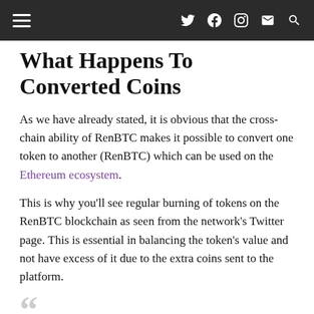navigation header with hamburger menu and social icons
What Happens To Converted Coins
As we have already stated, it is obvious that the cross-chain ability of RenBTC makes it possible to convert one token to another (RenBTC) which can be used on the Ethereum ecosystem.
This is why you'll see regular burning of tokens on the RenBTC blockchain as seen from the network's Twitter page. This is essential in balancing the token's value and not have excess of it due to the extra coins sent to the platform.
🔥 Burned 7 $renBTC from address